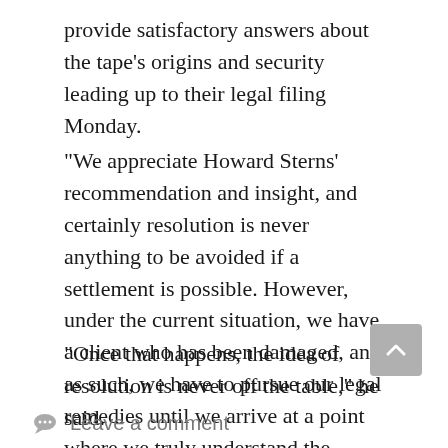provide satisfactory answers about the tape’s origins and security leading up to their legal filing Monday.
“We appreciate Howard Sterns’ recommendation and insight, and certainly resolution is never anything to be avoided if a settlement is possible. However, under the current situation, we have a client who has been damaged, and as such, we have to pursue our legal remedies until we arrive at a point where we truly understand the actions of all players,” Houston said.
“Once that happens, the idea of resolution is never off the table,” he said.
Leave a comment